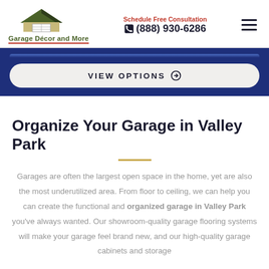Garage Décor and More | Schedule Free Consultation | (888) 930-6286
[Figure (logo): Garage Décor and More logo with house/roof illustration in olive green and dark colors]
VIEW OPTIONS ⊙
Organize Your Garage in Valley Park
Garages are often the largest open space in the home, yet are also the most underutilized area. From floor to ceiling, we can help you can create the functional and organized garage in Valley Park you've always wanted. Our showroom-quality garage flooring systems will make your garage feel brand new, and our high-quality garage cabinets and storage